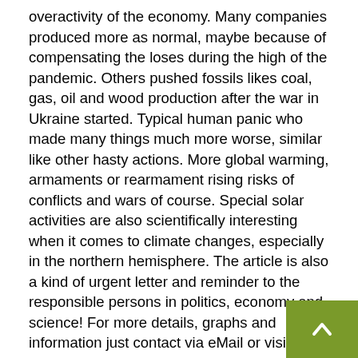overactivity of the economy. Many companies produced more as normal, maybe because of compensating the loses during the high of the pandemic. Others pushed fossils likes coal, gas, oil and wood production after the war in Ukraine started. Typical human panic who made many things much more worse, similar like other hasty actions. More global warming, armaments or rearmament rising risks of conflicts and wars of course. Special solar activities are also scientifically interesting when it comes to climate changes, especially in the northern hemisphere. The article is also a kind of urgent letter and reminder to the responsible persons in politics, economy and science! For more details, graphs and information just contact via eMail or visit the official sites like Windfinder. For historical documentation and scientific purposes a few graphics and single screenshots of the last weeks with climate examples and weather data are attached, so you can clearly see the extreme weather events and phenomena. The vor